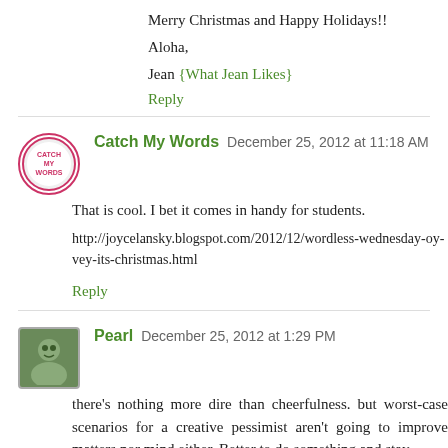Merry Christmas and Happy Holidays!!
Aloha,
Jean {What Jean Likes}
Reply
Catch My Words  December 25, 2012 at 11:18 AM
That is cool. I bet it comes in handy for students.
http://joycelansky.blogspot.com/2012/12/wordless-wednesday-oy-vey-its-christmas.html
Reply
Pearl  December 25, 2012 at 1:29 PM
there's nothing more dire than cheerfulness. but worst-case scenarios for a creative pessimist aren't going to improve matters nor mind either. Better to do something and stay